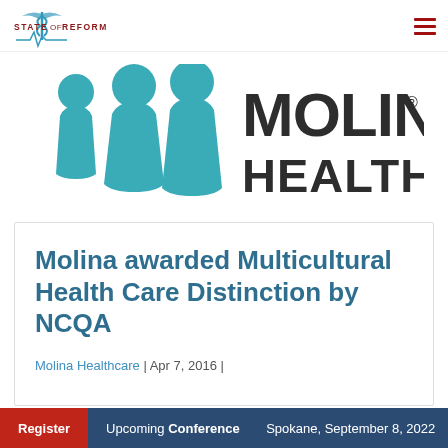STATE OF REFORM
[Figure (logo): Molina Healthcare logo with two teal human figures and bold text reading MOLINA HEALTHCARE with registered trademark symbol]
Molina awarded Multicultural Health Care Distinction by NCQA
Molina Healthcare | Apr 7, 2016 |
Register  Upcoming Conference  Spokane, September 8, 2022